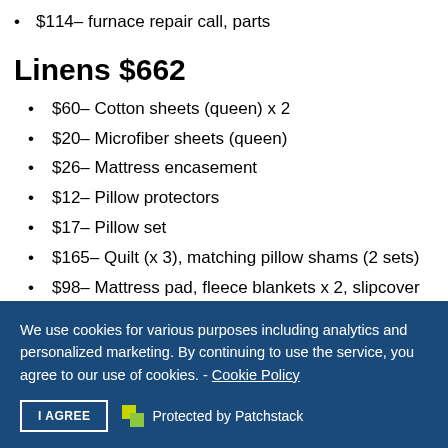$114– furnace repair call, parts
Linens $662
$60– Cotton sheets (queen) x 2
$20– Microfiber sheets (queen)
$26– Mattress encasement
$12– Pillow protectors
$17– Pillow set
$165– Quilt (x 3), matching pillow shams (2 sets)
$98– Mattress pad, fleece blankets x 2, slipcover for sofa
We use cookies for various purposes including analytics and personalized marketing. By continuing to use the service, you agree to our use of cookies. - Cookie Policy
I AGREE   Protected by Patchstack